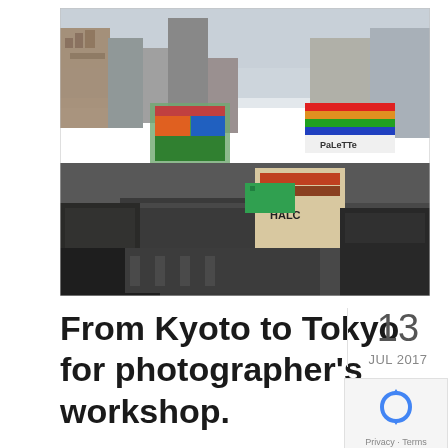[Figure (photo): Aerial view of Tokyo cityscape showing Shibuya crossing area with densely packed urban buildings, large billboards including HALC and PaLeTTe, and busy streets below taken from a high vantage point.]
From Kyoto to Tokyo for photographer's workshop.
13 JUL 2017
[Figure (logo): reCAPTCHA logo — circular arrows icon in blue]
Privacy · Terms